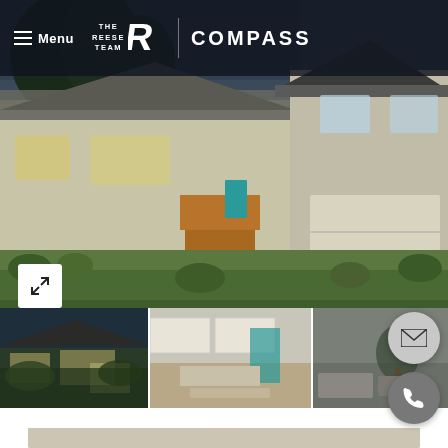Menu | THE REESE TEAM R | COMPASS
[Figure (photo): Real estate website screenshot showing The Reese Team / Compass branding header with menu button, logo, and compass wordmark over a dark semi-transparent bar. Below is a hero photo of two houses with green lawns — a ranch-style home on the left with wooden deck and teal door, and a two-story gray home with garage on the right. Expand icon in lower-left. Below are three thumbnail photos: exterior night shot, interior kitchen/dining, and living room with plants. Right side has floating email and phone contact buttons. Bottom shows another interior room photo partially visible.]